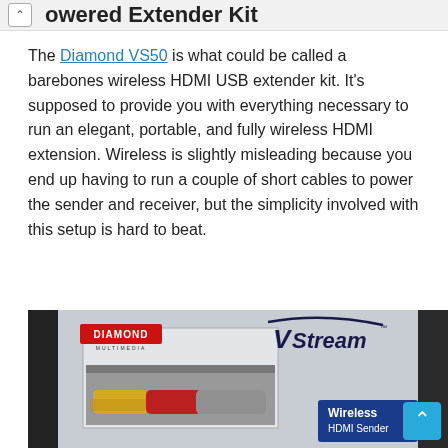powered Extender Kit
The Diamond VS50 is what could be called a barebones wireless HDMI USB extender kit. It's supposed to provide you with everything necessary to run an elegant, portable, and fully wireless HDMI extension. Wireless is slightly misleading because you end up having to run a couple of short cables to power the sender and receiver, but the simplicity involved with this setup is hard to beat.
[Figure (photo): Product packaging box for the Diamond Multimedia VStream Wireless HDMI Sender, showing the Diamond logo in red, VStream logo in dark navy, and a scene with racing cars, plus a blue badge reading 'Wireless HDMI Sender']